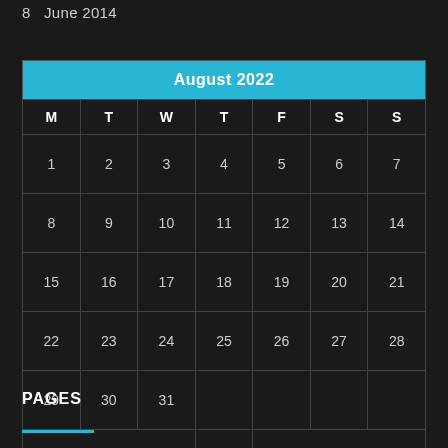8  June 2014
| M | T | W | T | F | S | S |
| --- | --- | --- | --- | --- | --- | --- |
| 1 | 2 | 3 | 4 | 5 | 6 | 7 |
| 8 | 9 | 10 | 11 | 12 | 13 | 14 |
| 15 | 16 | 17 | 18 | 19 | 20 | 21 |
| 22 | 23 | 24 | 25 | 26 | 27 | 28 |
| 29 | 30 | 31 |  |  |  |  |
| « Jan |  |  |  |  |  |  |
PAGES